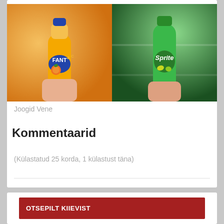[Figure (photo): Two photos side by side: left shows a hand holding an orange Fanta bottle, right shows a hand holding a green Sprite bottle]
Joogid Vene
Kommentaarid
(Külastatud 25 korda, 1 külastust täna)
OTSEPILT KIIEVIST